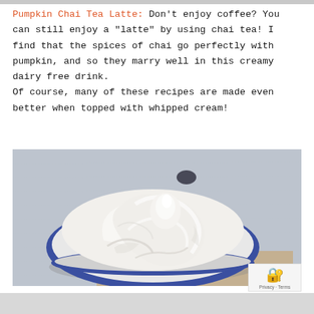Pumpkin Chai Tea Latte: Don't enjoy coffee? You can still enjoy a "latte" by using chai tea! I find that the spices of chai go perfectly with pumpkin, and so they marry well in this creamy dairy free drink. Of course, many of these recipes are made even better when topped with whipped cream!
[Figure (photo): A bowl with a blue rim filled with whipped cream, photographed on a textured light blue/grey surface. Close-up food photography with shallow depth of field.]